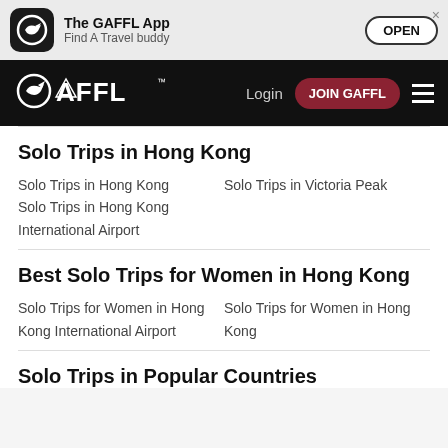[Figure (screenshot): GAFFL app banner with icon showing stylized G logo, app name 'The GAFFL App', subtitle 'Find A Travel buddy', and OPEN button]
[Figure (logo): GAFFL navigation bar with GAFFL logo on left, Login link, JOIN GAFFL red button, and hamburger menu icon]
Solo Trips in Hong Kong
Solo Trips in Hong Kong
Solo Trips in Hong Kong International Airport
Solo Trips in Victoria Peak
Best Solo Trips for Women in Hong Kong
Solo Trips for Women in Hong Kong International Airport
Solo Trips for Women in Hong Kong
Solo Trips in Popular Countries